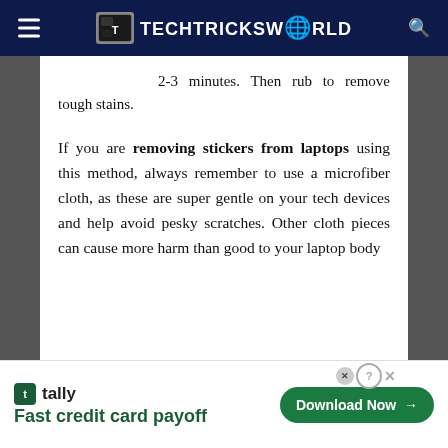TECHTRICKSWORLD
2-3 minutes. Then rub to remove tough stains.
If you are removing stickers from laptops using this method, always remember to use a microfiber cloth, as these are super gentle on your tech devices and help avoid pesky scratches. Other cloth pieces can cause more harm than good to your laptop body
[Figure (screenshot): Tally app advertisement banner with 'Fast credit card payoff' tagline and Download Now button]